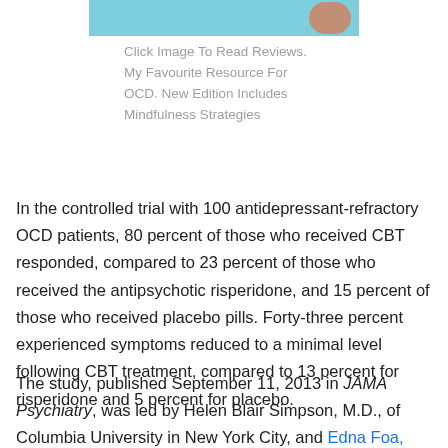[Figure (photo): Partial book cover image cropped at top]
Click Image To Read Reviews. My Favourite Resource For OCD. New Edition Includes Mindfulness Strategies
In the controlled trial with 100 antidepressant-refractory OCD patients, 80 percent of those who received CBT responded, compared to 23 percent of those who received the antipsychotic risperidone, and 15 percent of those who received placebo pills. Forty-three percent experienced symptoms reduced to a minimal level following CBT treatment, compared to 13 percent for risperidone and 5 percent for placebo.
The study, published September 11, 2013 in JAMA Psychiatry, was led by Helen Blair Simpson, M.D., of Columbia University in New York City, and Edna Foa, Ph.D.